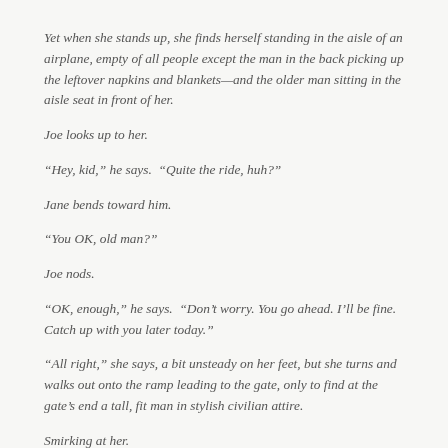Yet when she stands up, she finds herself standing in the aisle of an airplane, empty of all people except the man in the back picking up the leftover napkins and blankets—and the older man sitting in the aisle seat in front of her.
Joe looks up to her.
“Hey, kid,” he says.  “Quite the ride, huh?”
Jane bends toward him.
“You OK, old man?”
Joe nods.
“OK, enough,” he says.  “Don’t worry. You go ahead. I’ll be fine. Catch up with you later today.”
“All right,” she says, a bit unsteady on her feet, but she turns and walks out onto the ramp leading to the gate, only to find at the gate’s end a tall, fit man in stylish civilian attire.
Smirking at her.